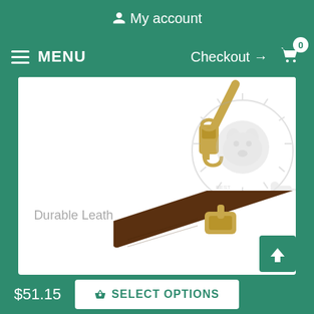My account
MENU
Checkout → 0
[Figure (photo): Product photo of a leather dog leash with gold metal clasp/hardware, partially visible. Watermark/logo overlay visible in image area.]
Durable Leather Dog Leash for Training and Walking
$51.15
SELECT OPTIONS